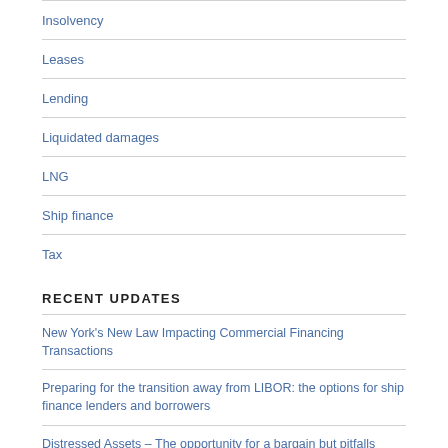Insolvency
Leases
Lending
Liquidated damages
LNG
Ship finance
Tax
RECENT UPDATES
New York's New Law Impacting Commercial Financing Transactions
Preparing for the transition away from LIBOR: the options for ship finance lenders and borrowers
Distressed Assets – The opportunity for a bargain but pitfalls abound
Staying afloat: managing liquidity in the COVID-19 fallout
New regime for ship leasing tax concessions in Hong Kong